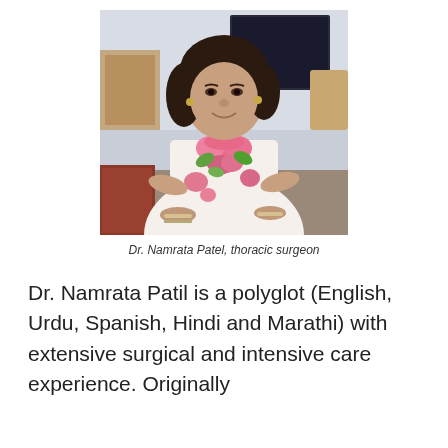[Figure (photo): Portrait photo of Dr. Namrata Patel, a woman wearing a white floral top with pink flowers, standing in what appears to be a restaurant or event venue.]
Dr. Namrata Patel, thoracic surgeon
Dr. Namrata Patil is a polyglot (English, Urdu, Spanish, Hindi and Marathi) with extensive surgical and intensive care experience. Originally